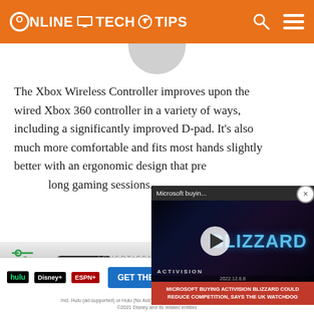ONLINE TECH TIPS
[Figure (screenshot): Partial avatar/profile circle visible at top of content area]
The Xbox Wireless Controller improves upon the wired Xbox 360 controller in a variety of ways, including a significantly improved D-pad. It's also much more comfortable and fits most hands slightly better with an ergonomic design that pre... long gaming sessions.
[Figure (screenshot): Video popup overlay: Microsoft buying Activision Blizzard news video with play button, title bar 'Microsoft buyin...', and red caption bar 'MICROSOFT BUYING ACTIVISION BLIZZARD COULD REDUCE COMPETITION, SAYS THE UK WATCHDOG']
[Figure (photo): Xbox Wireless Controller black gamepad visible in lower portion of page with ADVERTISEMENT label overlay]
[Figure (infographic): Disney Bundle advertisement banner: hulu, Disney+, ESPN+ logos with 'GET THE DISNEY BUNDLE' CTA button and fine print 'Incl. Hulu (ad-supported) or Hulu (No Ads). Access content from each service separately. ©2021 Disney and its related entities']